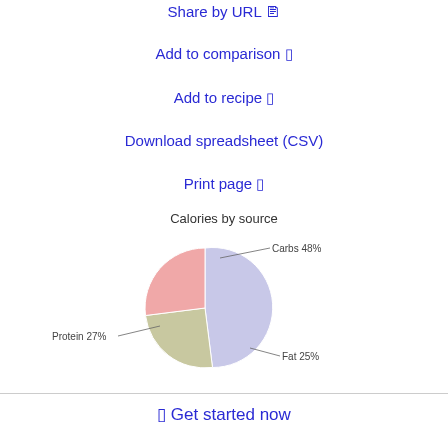Share by URL 🖹
Add to comparison 🔲
Add to recipe 🔲
Download spreadsheet (CSV)
Print page 🔲
[Figure (pie-chart): Calories by source]
🔲 Get started now